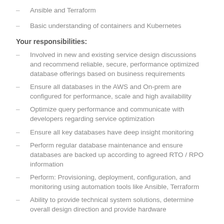Ansible and Terraform
Basic understanding of containers and Kubernetes
Your responsibilities:
Involved in new and existing service design discussions and recommend reliable, secure, performance optimized database offerings based on business requirements
Ensure all databases in the AWS and On-prem are configured for performance, scale and high availability
Optimize query performance and communicate with developers regarding service optimization
Ensure all key databases have deep insight monitoring
Perform regular database maintenance and ensure databases are backed up according to agreed RTO / RPO information
Perform: Provisioning, deployment, configuration, and monitoring using automation tools like Ansible, Terraform
Ability to provide technical system solutions, determine overall design direction and provide hardware